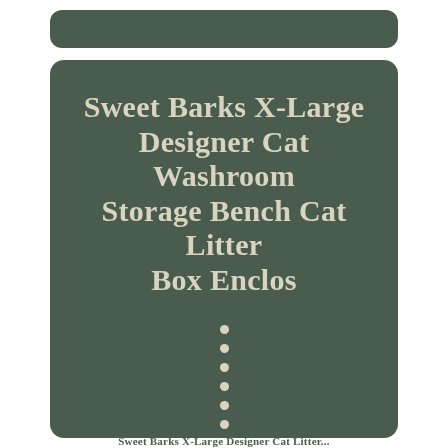Sweet Barks X-Large Designer Cat Washroom Storage Bench Cat Litter Box Enclos
•
•
•
•
•
•
•
•
• •